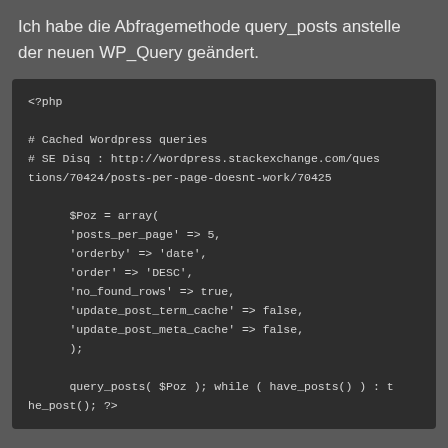Ich habe die Abfragemethode query_posts anstelle der neuen WP_Query geändert.
[Figure (screenshot): PHP code block showing cached WordPress queries using query_posts with array arguments including posts_per_page, orderby, order, no_found_rows, update_post_term_cache, update_post_meta_cache, followed by query_posts call with have_posts loop.]